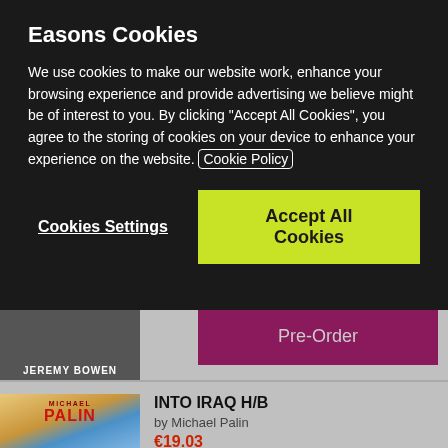Easons Cookies
We use cookies to make our website work, enhance your browsing experience and provide advertising we believe might be of interest to you. By clicking “Accept All Cookies”, you agree to the storing of cookies on your device to enhance your experience on the website. Cookie Policy
Cookies Settings
Accept All Cookies
JEREMY BOWEN
Pre-Order
INTO IRAQ H/B
by Michael Palin
€19.03